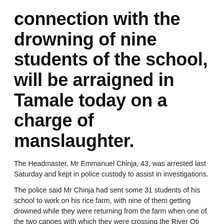connection with the drowning of nine students of the school, will be arraigned in Tamale today on a charge of manslaughter.
The Headmaster, Mr Emmanuel Chinja, 43, was arrested last Saturday and kept in police custody to assist in investigations.
The police said Mr Chinja had sent some 31 students of his school to work on his rice farm, with nine of them getting drowned while they were returning from the farm when one of the two canoes with which they were crossing the River Oti capsized last Friday evening.
Briefing
Briefing the Daily Graphic, the Saboba District Police Commander, Assistant Superintendent of Police (ASP) Mr Shine